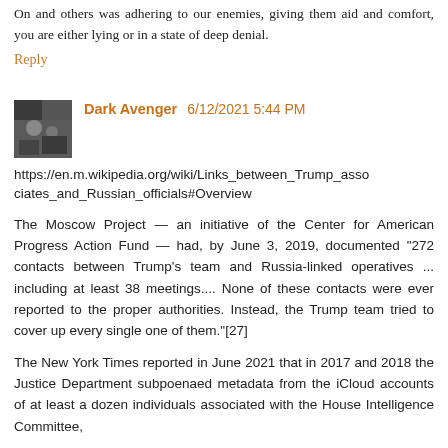On and others was adhering to our enemies, giving them aid and comfort, you are either lying or in a state of deep denial.
Reply
Dark Avenger 6/12/2021 5:44 PM
https://en.m.wikipedia.org/wiki/Links_between_Trump_associates_and_Russian_officials#Overview
The Moscow Project — an initiative of the Center for American Progress Action Fund — had, by June 3, 2019, documented "272 contacts between Trump's team and Russia-linked operatives ... including at least 38 meetings.... None of these contacts were ever reported to the proper authorities. Instead, the Trump team tried to cover up every single one of them."[27]
The New York Times reported in June 2021 that in 2017 and 2018 the Justice Department subpoenaed metadata from the iCloud accounts of at least a dozen individuals associated with the House Intelligence Committee,